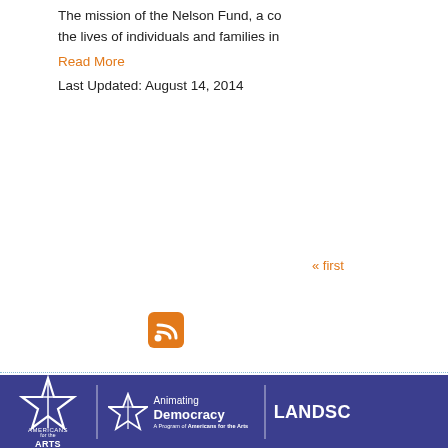The mission of the Nelson Fund, a co the lives of individuals and families in
Read More
Last Updated: August 14, 2014
« first
[Figure (other): RSS feed icon - orange rounded square with white RSS symbol]
ABOUT • CO
WASHINGTON DC OFFICE  1275 K St NW, Suite 1200 Washington, DC
[Figure (logo): Americans for the Arts logo in white on dark blue background]
[Figure (logo): Animating Democracy - A Program of Americans for the Arts logo in white on dark blue background]
[Figure (logo): LANDSC... logo in white on dark blue background (partially visible)]